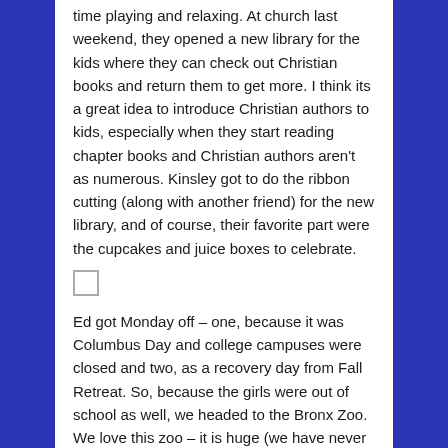time playing and relaxing. At church last weekend, they opened a new library for the kids where they can check out Christian books and return them to get more. I think its a great idea to introduce Christian authors to kids, especially when they start reading chapter books and Christian authors aren't as numerous. Kinsley got to do the ribbon cutting (along with another friend) for the new library, and of course, their favorite part were the cupcakes and juice boxes to celebrate.
[Figure (other): Small empty checkbox or image placeholder square]
Ed got Monday off – one, because it was Columbus Day and college campuses were closed and two, as a recovery day from Fall Retreat. So, because the girls were out of school as well, we headed to the Bronx Zoo. We love this zoo – it is huge (we have never been able to see everything in just one day) and we love that they really care for and provide great habitats for the animals rather than just putting them in a little cage. We also have watched some of "The Zoo" on Animal Planet which has